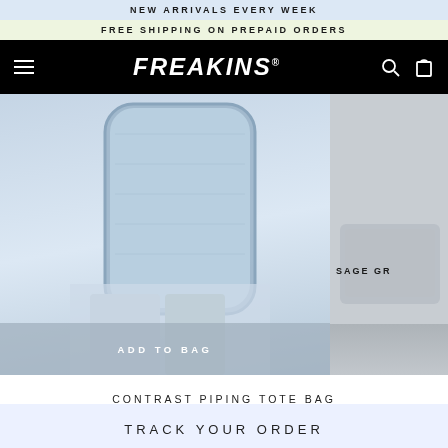NEW ARRIVALS EVERY WEEK
FREE SHIPPING ON PREPAID ORDERS
[Figure (logo): Freakins brand logo in white bold italic text on black navbar background with hamburger menu, search icon, and bag icon]
[Figure (photo): Contrast piping denim tote bag in light blue/denim, shown on a model, with ADD TO BAG overlay button]
[Figure (photo): Right side product image partially visible, sage green colored item]
ADD TO BAG
SAGE GR
CONTRAST PIPING TOTE BAG
RS. 899
TRACK YOUR ORDER